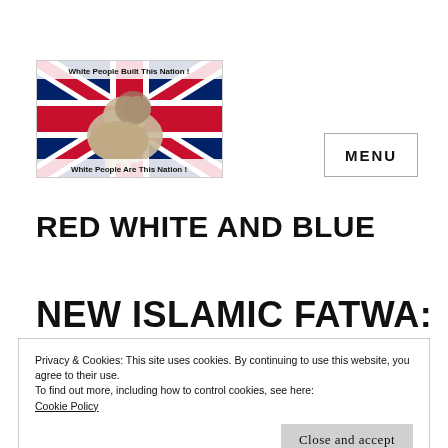[Figure (illustration): Website logo image showing a stone lion statue in front of a Union Jack (UK flag), with text overlays reading 'White People Built This Nation !' at the top and 'White People Are This Nation !' at the bottom.]
MENU
RED WHITE AND BLUE
NEW ISLAMIC FATWA: A
Privacy & Cookies: This site uses cookies. By continuing to use this website, you agree to their use.
To find out more, including how to control cookies, see here:
Cookie Policy
Close and accept